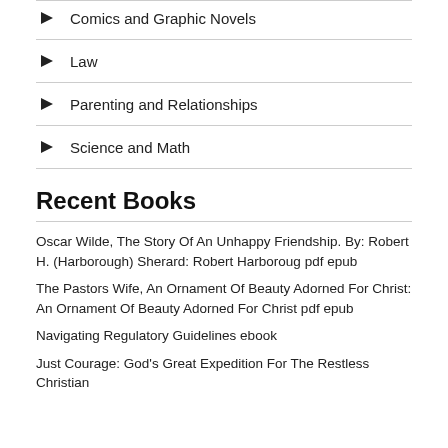Comics and Graphic Novels
Law
Parenting and Relationships
Science and Math
Recent Books
Oscar Wilde, The Story Of An Unhappy Friendship. By: Robert H. (Harborough) Sherard: Robert Harboroug pdf epub
The Pastors Wife, An Ornament Of Beauty Adorned For Christ: An Ornament Of Beauty Adorned For Christ pdf epub
Navigating Regulatory Guidelines ebook
Just Courage: God's Great Expedition For The Restless Christian